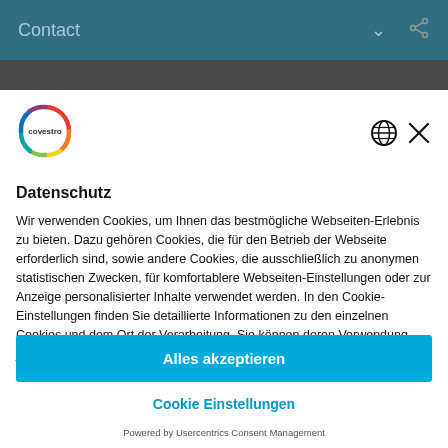Contact
[Figure (logo): Covestro logo — circular rainbow ring with 'covestro' text inside]
Datenschutz
Wir verwenden Cookies, um Ihnen das bestmögliche Webseiten-Erlebnis zu bieten. Dazu gehören Cookies, die für den Betrieb der Webseite erforderlich sind, sowie andere Cookies, die ausschließlich zu anonymen statistischen Zwecken, für komfortablere Webseiten-Einstellungen oder zur Anzeige personalisierter Inhalte verwendet werden. In den Cookie-Einstellungen finden Sie detaillierte Informationen zu den einzelnen Cookies und dem Ort der Verarbeitung. Sie können deren Verwendung jederzeit überprüfen, ändern und ablehnen. Bitte beachten Sie, dass je nach Auswahl möglicherweise nicht
Alles akzeptieren
Cookie Einstellungen
Powered by Usercentrics Consent Management